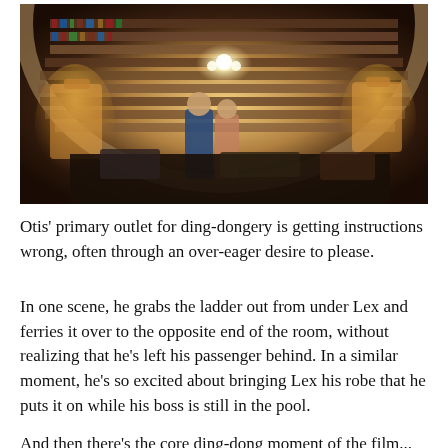[Figure (photo): A photo of two people in an ornate circular library room with floor-to-ceiling bookshelves, a chandelier, and warm lamps on either side.]
Otis' primary outlet for ding-dongery is getting instructions wrong, often through an over-eager desire to please.
In one scene, he grabs the ladder out from under Lex and ferries it over to the opposite end of the room, without realizing that he's left his passenger behind. In a similar moment, he's so excited about bringing Lex his robe that he puts it on while his boss is still in the pool.
And then there's the core ding-dong moment of the film...